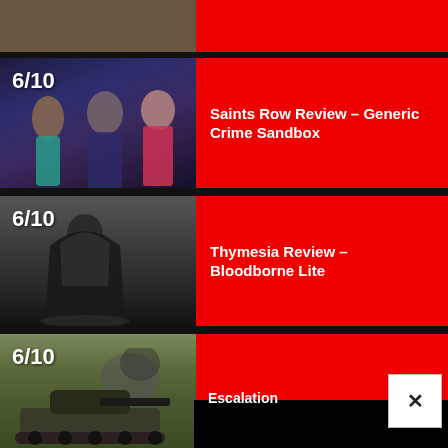[Figure (screenshot): Partial top card with brownish game screenshot, red right panel]
[Figure (screenshot): Saints Row Review card. Score 6/10 overlaid on game characters screenshot. Red panel on right with title.]
Saints Row Review – Generic Crime Sandbox
[Figure (screenshot): Thymesia Review card. Score 6/10 overlaid on dark cloaked figure screenshot. Red panel on right with title.]
Thymesia Review – Bloodborne Lite
[Figure (screenshot): Escalation review card. Score 6/10. Tank in field screenshot. Black popup overlay with X button partially covering right side.]
Escalation